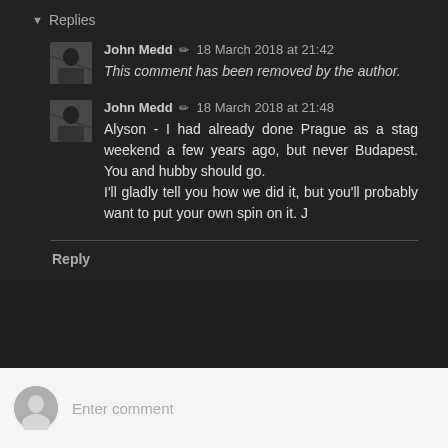Replies
John Medd   18 March 2018 at 21:42
This comment has been removed by the author.
John Medd   18 March 2018 at 21:48
Alyson - I had already done Prague as a stag weekend a few years ago, but never Budapest. You and hubby should go.
I'll gladly tell you how we did it, but you'll probably want to put your own spin on it. J
Reply
Enter comment